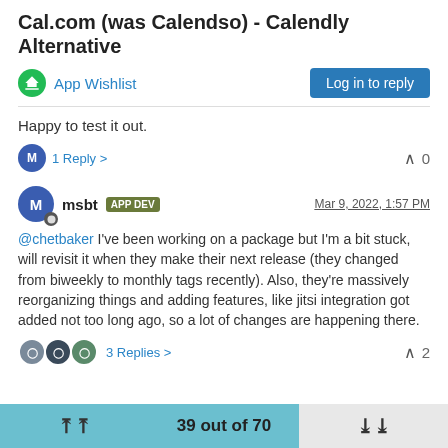Cal.com (was Calendso) - Calendly Alternative
App Wishlist | Log in to reply
Happy to test it out.
M  1 Reply >   ^ 0
msbt APP DEV  Mar 9, 2022, 1:57 PM
@chetbaker I've been working on a package but I'm a bit stuck, will revisit it when they make their next release (they changed from biweekly to monthly tags recently). Also, they're massively reorganizing things and adding features, like jitsi integration got added not too long ago, so a lot of changes are happening there.
3 Replies >   ^ 2
39 out of 70